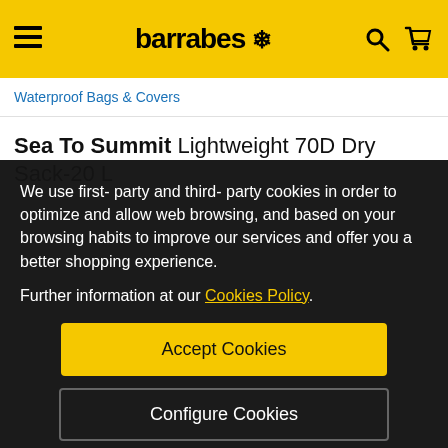barrabes 🌸
Waterproof Bags & Covers
Sea To Summit Lightweight 70D Dry Sack-20 L
We use first- party and third- party cookies in order to optimize and allow web browsing, and based on your browsing habits to improve our services and offer you a better shopping experience.
Further information at our Cookies Policy.
Accept Cookies
Configure Cookies